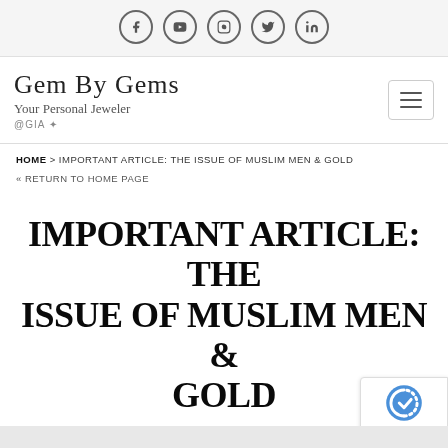[Figure (other): Social media icons row: Facebook, YouTube, Instagram, Twitter, LinkedIn — each in a circle]
[Figure (logo): Gem By Gems logo with cursive text 'Gem By Gems', subtitle 'Your Personal Jeweler', and '@GIA' text with small icon]
HOME > IMPORTANT ARTICLE: THE ISSUE OF MUSLIM MEN & GOLD
« RETURN TO HOME PAGE
IMPORTANT ARTICLE: THE ISSUE OF MUSLIM MEN & GOLD